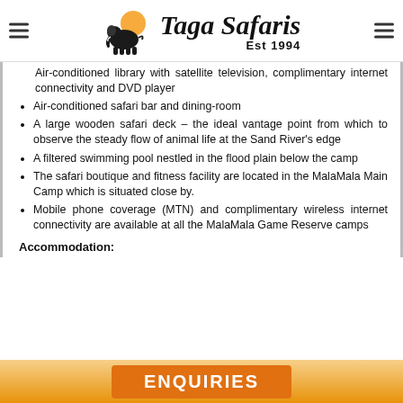Taga Safaris Est 1994
Air-conditioned library with satellite television, complimentary internet connectivity and DVD player
Air-conditioned safari bar and dining-room
A large wooden safari deck – the ideal vantage point from which to observe the steady flow of animal life at the Sand River's edge
A filtered swimming pool nestled in the flood plain below the camp
The safari boutique and fitness facility are located in the MalaMala Main Camp which is situated close by.
Mobile phone coverage (MTN) and complimentary wireless internet connectivity are available at all the MalaMala Game Reserve camps
Accommodation: